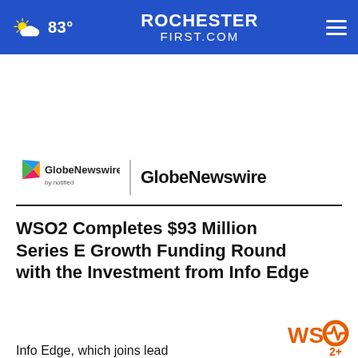83° ROCHESTERFIRST.COM
[Figure (logo): GlobeNewswire by notified logo with colorful arrow icon followed by text GlobeNewswire]
WSO2 Completes $93 Million Series E Growth Funding Round with the Investment from Info Edge
Info Edge, which joins lead
[Figure (logo): WSO2 logo in orange]